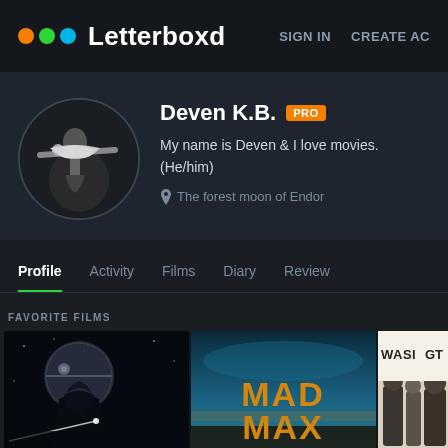Letterboxd   SIGN IN   CREATE AC
[Figure (photo): Letterboxd user profile page for Deven K.B. with PRO badge, avatar showing black and white photo of person carrying another person, bio text, location, navigation tabs (Profile, Activity, Films, Diary, Reviews), and favorite film posters including Star Wars and Mad Max]
Deven K.B. PRO
My name is Deven & I love movies.
(He/him)
The forest moon of Endor
Profile  Activity  Films  Diary  Review
FAVORITE FILMS